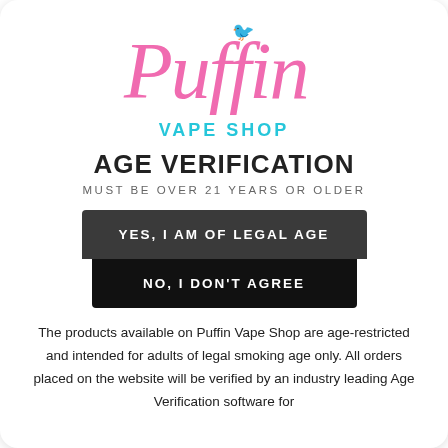[Figure (logo): Puffin Vape Shop cursive pink logo with small crown/bird illustration]
VAPE SHOP
AGE VERIFICATION
MUST BE OVER 21 YEARS OR OLDER
YES, I AM OF LEGAL AGE
NO, I DON'T AGREE
The products available on Puffin Vape Shop are age-restricted and intended for adults of legal smoking age only. All orders placed on the website will be verified by an industry leading Age Verification software for